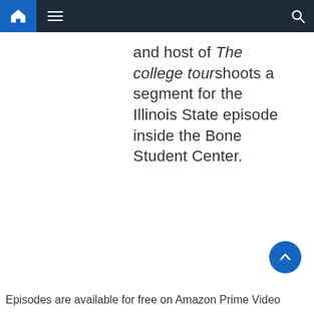Home Menu Search
and host of The college tour shoots a segment for the Illinois State episode inside the Bone Student Center.
Episodes are available for free on Amazon Prime Video